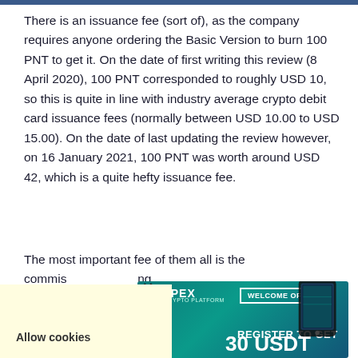There is an issuance fee (sort of), as the company requires anyone ordering the Basic Version to burn 100 PNT to get it. On the date of first writing this review (8 April 2020), 100 PNT corresponded to roughly USD 10, so this is quite in line with industry average crypto debit card issuance fees (normally between USD 10.00 to USD 15.00). On the date of last updating the review however, on 16 January 2021, 100 PNT was worth around USD 42, which is a quite hefty issuance fee.
The most important fee of them all is the commission... [partially obscured by ad overlay] ...ing, Eidoo C... ...u... ...ive f...
[Figure (other): JPEX crypto platform advertisement banner showing a phone, 'WELCOME OFFER' text, and 'REGISTER TO GET 30 USDT' promotional text on a teal/blue gradient background.]
Allow cookies